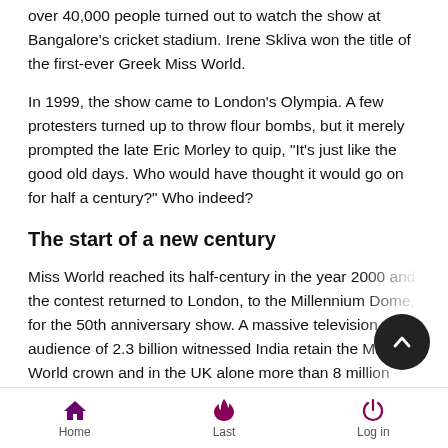over 40,000 people turned out to watch the show at Bangalore's cricket stadium. Irene Skliva won the title of the first-ever Greek Miss World.
In 1999, the show came to London's Olympia. A few protesters turned up to throw flour bombs, but it merely prompted the late Eric Morley to quip, "It's just like the good old days. Who would have thought it would go on for half a century?" Who indeed?
The start of a new century
Miss World reached its half-century in the year 2000 and the contest returned to London, to the Millennium Dome, for the 50th anniversary show. A massive television audience of 2.3 billion witnessed India retain the Miss World crown and in the UK alone more than 8 million people tuned in during the two-hour broadcast on Channel 5.
Home  Last  Log in